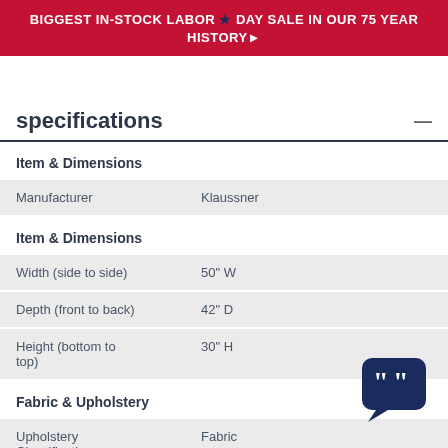BIGGEST IN-STOCK LABOR ★ DAY SALE IN OUR 75 YEAR HISTORY▶
specifications
| Item & Dimensions |  |
| Manufacturer | Klaussner |
| Item & Dimensions |  |
| Width (side to side) | 50" W |
| Depth (front to back) | 42" D |
| Height (bottom to top) | 30" H |
| Fabric & Upholstery |  |
| Upholstery Classification | Fabric |
[Figure (illustration): Chat/quote bubble icon with a smiley face, dark navy blue color, bottom-right corner]